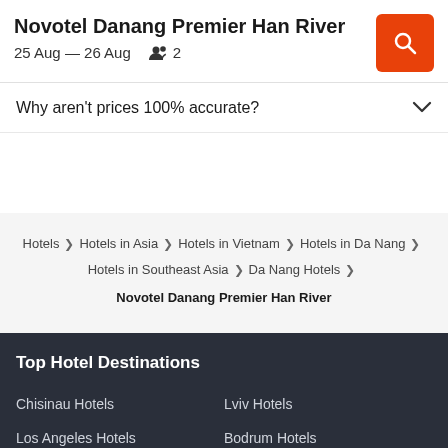Novotel Danang Premier Han River
25 Aug — 26 Aug   2
Why aren't prices 100% accurate?
Hotels > Hotels in Asia > Hotels in Vietnam > Hotels in Da Nang > Hotels in Southeast Asia > Da Nang Hotels > Novotel Danang Premier Han River
Top Hotel Destinations
Chisinau Hotels
Lviv Hotels
Los Angeles Hotels
Bodrum Hotels
Jerusalem Hotels
Berlin Hotels
London Hotels
Varna Hotels